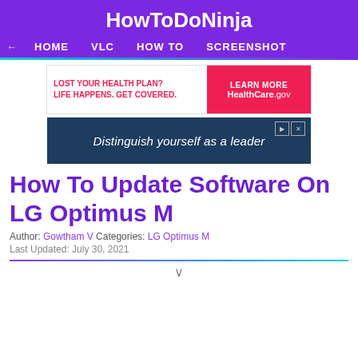HowToDoNinja
← HOME   VLC   HOW TO   SCREENSHOT
[Figure (infographic): Advertisement: LOST YOUR HEALTH PLAN? LIFE HAPPENS. GET COVERED. LEARN MORE HealthCare.gov]
[Figure (infographic): Advertisement: Distinguish yourself as a leader]
How To Update Software On LG Optimus M
Author: Gowtham V Categories: LG Optimus M
Last Updated: July 30, 2021